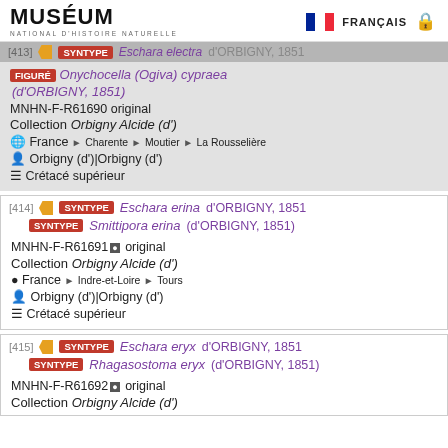MUSÉUM NATIONAL D'HISTOIRE NATURELLE — FRANÇAIS
[413] SYNTYPE Eschara electra d'ORBIGNY, 1851
FIGURÉ Onychocella (Ogiva) cypraea (d'ORBIGNY, 1851)
MNHN-F-R61690 original
Collection Orbigny Alcide (d')
France > Charente > Moutier > La Rousselière
Orbigny (d')|Orbigny (d')
Crétacé supérieur
[414] SYNTYPE Eschara erina d'ORBIGNY, 1851
SYNTYPE Smittipora erina (d'ORBIGNY, 1851)
MNHN-F-R61691 original
Collection Orbigny Alcide (d')
France > Indre-et-Loire > Tours
Orbigny (d')|Orbigny (d')
Crétacé supérieur
[415] SYNTYPE Eschara eryx d'ORBIGNY, 1851
SYNTYPE Rhagasostoma eryx (d'ORBIGNY, 1851)
MNHN-F-R61692 original
Collection Orbigny Alcide (d')